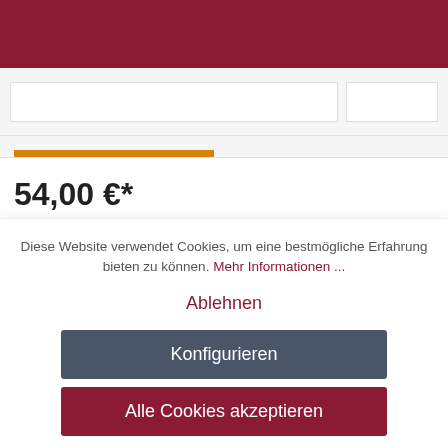[Figure (screenshot): Dark red/maroon header navigation bar at top of webpage]
[Figure (screenshot): Light grey navigation area with search bar and button box]
[Figure (screenshot): Orange/amber active tab indicator bar]
54,00 €*
Preise inkl. MwSt., ggf. zzgl. Versandkosten
Aktuelle...
Diese Website verwendet Cookies, um eine bestmögliche Erfahrung bieten zu können. Mehr Informationen ...
Ablehnen
Konfigurieren
Alle Cookies akzeptieren